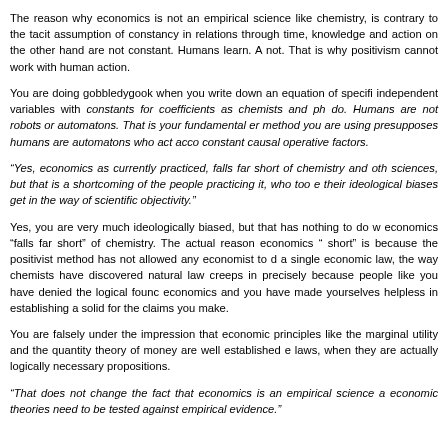The reason why economics is not an empirical science like chemistry, is contrary to the tacit assumption of constancy in relations through time, knowledge and action on the other hand are not constant. Humans learn. A not. That is why positivism cannot work with human action.
You are doing gobbledygook when you write down an equation of specifi independent variables with constants for coefficients as chemists and ph do. Humans are not robots or automatons. That is your fundamental er method you are using presupposes humans are automatons who act acco constant causal operative factors.
“Yes, economics as currently practiced, falls far short of chemistry and oth sciences, but that is a shortcoming of the people practicing it, who too e their ideological biases get in the way of scientific objectivity.”
Yes, you are very much ideologically biased, but that has nothing to do w economics “falls far short” of chemistry. The actual reason economics “ short” is because the positivist method has not allowed any economist to d a single economic law, the way chemists have discovered natural law creeps in precisely because people like you have denied the logical founc economics and you have made yourselves helpless in establishing a solid for the claims you make.
You are falsely under the impression that economic principles like the marginal utility and the quantity theory of money are well established e laws, when they are actually logically necessary propositions.
“That does not change the fact that economics is an empirical science a economic theories need to be tested against empirical evidence.”